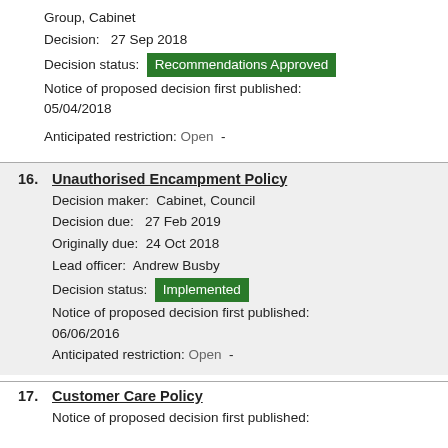Group, Cabinet
Decision:   27 Sep 2018
Decision status:  Recommendations Approved
Notice of proposed decision first published: 05/04/2018
Anticipated restriction: Open  -
16. Unauthorised Encampment Policy
Decision maker:  Cabinet, Council
Decision due:  27 Feb 2019
Originally due:  24 Oct 2018
Lead officer:  Andrew Busby
Decision status:  Implemented
Notice of proposed decision first published: 06/06/2016
Anticipated restriction: Open  -
17. Customer Care Policy
Notice of proposed decision first published: